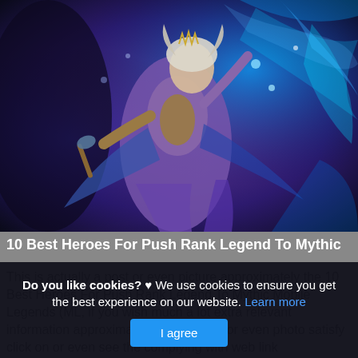[Figure (illustration): Fantasy game character art showing a white-haired female hero in ornate armor floating/flying amid blue magical energy and dark background — from Mobile Legends game]
10 Best Heroes For Push Rank Legend To Mythic
This is actually a post or even picture approximately the 10 Best Heroes For Push Rank Legend To Mythic Mobile Legends (ML, if you wish much a lot extra relevant information approximately the write-up or even photo satisfy click on or even see the complying with web link
Do you like cookies? ♥ We use cookies to ensure you get the best experience on our website. Learn more
I agree